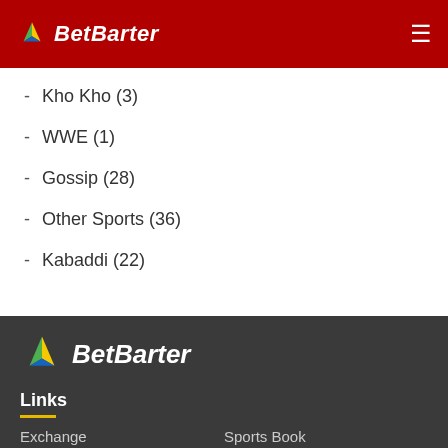BetBarter
- Kho Kho (3)
- WWE (1)
- Gossip (28)
- Other Sports (36)
- Kabaddi (22)
[Figure (logo): BetBarter logo in footer on dark background]
Links
Exchange   Sports Book
Casino Games   Live Casino